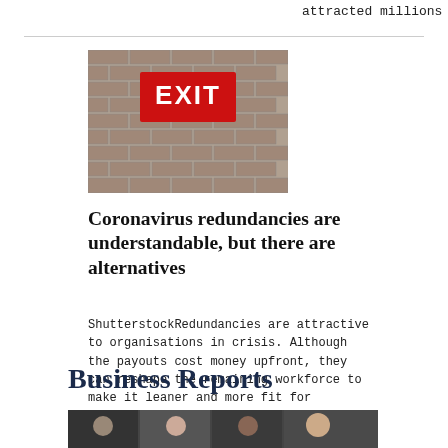attracted millions of car...
[Figure (photo): Photo of an EXIT sign on a brick wall]
Coronavirus redundancies are understandable, but there are alternatives
ShutterstockRedundancies are attractive to organisations in crisis. Although the payouts cost money upfront, they can reshape the remaining workforce to make it leaner and more fit for purpose. On the...
Business Reports
[Figure (photo): Photo of people, bottom of page]